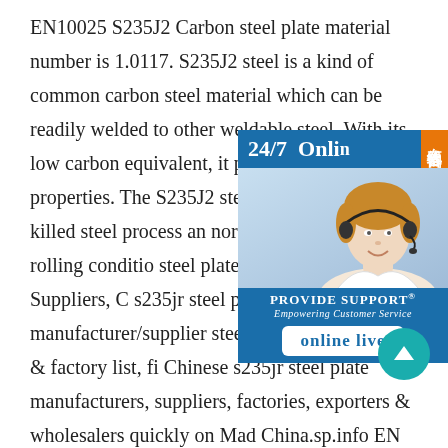EN10025 S235J2 Carbon steel plate material number is 1.0117. S235J2 steel is a kind of common carbon steel material which can be readily welded to other weldable steel. With its low carbon equivalent, it possesses cold-forming properties. The S235J2 steel plate is produced by fully killed steel process and delivered in normalized or controlled rolling condition. s235jr steel plate Manufacturers & Suppliers, China s235jr steel plate manufacturer/supplier, China steel plate manufacturer & factory list, find qualified Chinese s235jr steel plate manufacturers, suppliers, factories, exporters & wholesalers quickly on Made-in-China.sp.info EN 10025-2 S355J0 high strength structural steel plate Steel Grade:S355J0 ( 1.0553) Related grades:S235JR, S235J0, S235J2, S275JR,
[Figure (infographic): Customer service widget showing '24/7 Online' banner in blue with Chinese characters '在线咨询' (online consultation) in orange on the side, a photo of a woman wearing a headset, 'PROVIDE SUPPORT Empowering Customer Service' branding, and an 'online live' button. A teal scroll-to-top circular button is also visible.]